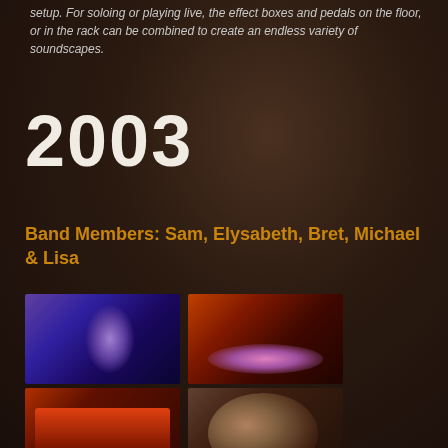setup. For soloing or playing live, the effect boxes and pedals on the floor, or in the rack can be combined to create an endless variety of soundscapes.
2003
Band Members: Sam, Elysabeth, Bret, Michael & Lisa
[Figure (photo): Two singers performing on stage with purple stage lighting and smoke]
[Figure (photo): Band performing on stage with red and purple atmospheric smoke lighting]
[Figure (photo): Stage performance with red lighting and equipment visible]
[Figure (photo): Two people posing together for a photo, casual portrait]